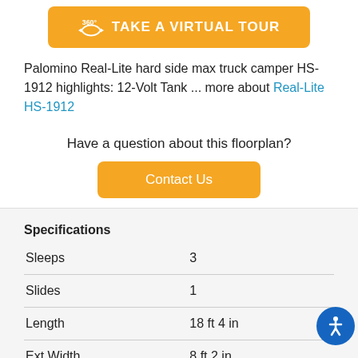[Figure (other): Orange button with 360 degree icon and text TAKE A VIRTUAL TOUR]
Palomino Real-Lite hard side max truck camper HS-1912 highlights: 12-Volt Tank ... more about Real-Lite HS-1912
Have a question about this floorplan?
[Figure (other): Orange Contact Us button]
Specifications
| Sleeps | 3 |
| Slides | 1 |
| Length | 18 ft 4 in |
| Ext Width | 8 ft 2 in |
| Ext Height | 9 ft 9 in |